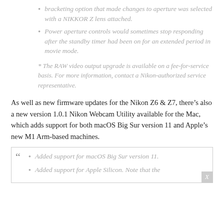bracketing option that made changes to aperture was selected with a NIKKOR Z lens attached.
Power aperture controls would sometimes stop responding after the standby timer had been on for an extended period in movie mode.
* The RAW video output upgrade is available on a fee-for-service basis. For more information, contact a Nikon-authorized service representative.
As well as new firmware updates for the Nikon Z6 & Z7, there’s also a new version 1.0.1 Nikon Webcam Utility available for the Mac, which adds support for both macOS Big Sur version 11 and Apple’s new M1 Arm-based machines.
Added support for macOS Big Sur version 11.
Added support for Apple Silicon. Note that the